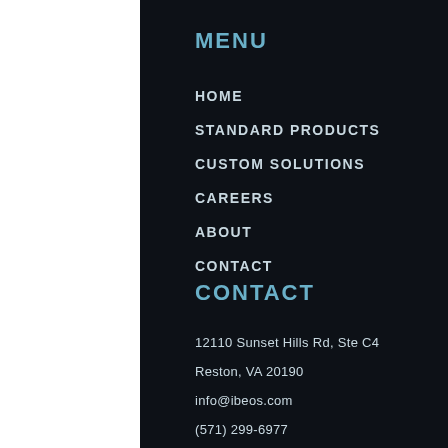MENU
HOME
STANDARD PRODUCTS
CUSTOM SOLUTIONS
CAREERS
ABOUT
CONTACT
CONTACT
12110 Sunset Hills Rd, Ste C4
Reston, VA 20190
info@ibeos.com
(571) 299-6977